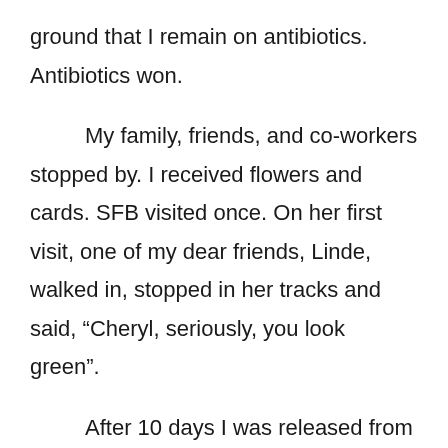ground that I remain on antibiotics.  Antibiotics won.

        My family, friends, and co-workers stopped by.  I received flowers and cards.  SFB visited once.  On her first visit, one of my dear friends, Linde, walked in, stopped in her tracks and said, “Cheryl, seriously, you look green”.

        After 10 days I was released from the hospital but not before a crushant catheter was inserted into my forearm where through a vein a long thin tube was inserted up my arm and into